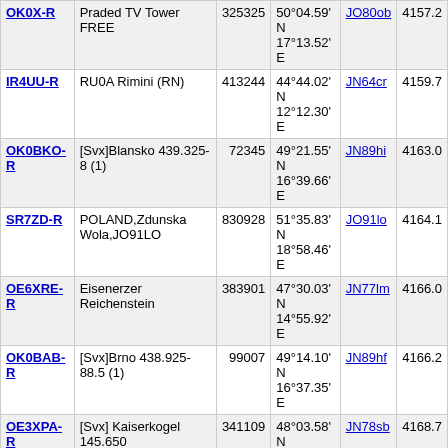| Callsign | Description | Node | Location | Grid | Dist |
| --- | --- | --- | --- | --- | --- |
| OK0X-R | Praded TV Tower FREE | 325325 | 50°04.59' N 17°13.52' E | JO80ob | 4157.2 |
| IR4UU-R | RU0A Rimini (RN) | 413244 | 44°44.02' N 12°12.30' E | JN64cr | 4159.7 |
| OK0BKO-R | [Svx]Blansko 439.325-8 (1) | 72345 | 49°21.55' N 16°39.66' E | JN89hi | 4163.0 |
| SR7ZD-R | POLAND,Zdunska Wola,JO91LO | 830928 | 51°35.83' N 18°58.46' E | JO91lo | 4164.1 |
| OE6XRE-R | Eisenerzer Reichenstein | 383901 | 47°30.03' N 14°55.92' E | JN77lm | 4166.0 |
| OK0BAB-R | [Svx]Brno 438.925-88.5 (1) | 99007 | 49°14.10' N 16°37.35' E | JN89hf | 4166.2 |
| OE3XPA-R | [Svx] Kaiserkogel 145.650 | 341109 | 48°03.58' N 15°32.36' E | JN78sb | 4168.7 |
About This Page
This page is intended to help RF users find EchoLink simplex or repeater link
The table above shows information collected during the past several minutes. only stations shown are those which have entered location information on the viewed here.
Simplex links (-L) show the location, frequency, and antenna information of the frequency, and antenna information of the repeater it serves. The values in th
Copyright © 2002-2020 Synergenics, LLC. EchoLink® is a registered trademark of Synergenics, LLC.